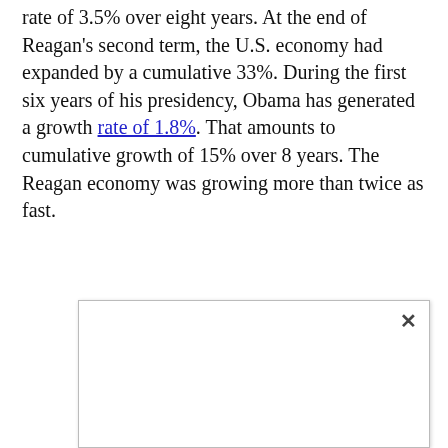rate of 3.5% over eight years. At the end of Reagan's second term, the U.S. economy had expanded by a cumulative 33%. During the first six years of his presidency, Obama has generated a growth rate of 1.8%. That amounts to cumulative growth of 15% over 8 years. The Reagan economy was growing more than twice as fast.
[Figure (screenshot): A popup or modal dialog box with a close (×) button in the top right corner. The interior of the box is blank/white.]